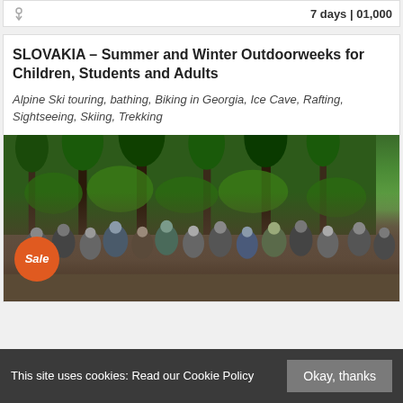7 days | 01,000
SLOVAKIA – Summer and Winter Outdoorweeks for Children, Students and Adults
Alpine Ski touring, bathing, Biking in Georgia, Ice Cave, Rafting, Sightseeing, Skiing, Trekking
[Figure (photo): Group photo of outdoor adventure participants posing in a forest setting, with a Sale badge in the bottom left corner]
This site uses cookies: Read our Cookie Policy